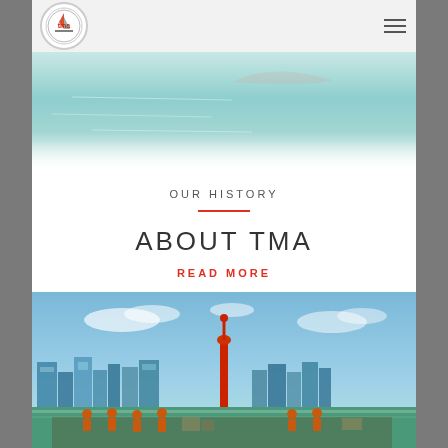[Figure (screenshot): TMA company website screenshot showing navigation header with TMA logo and hamburger menu, a teal ocean/water hero image fading to white, a white content section with 'OUR HISTORY' label, red divider line, 'ABOUT TMA' heading, and 'READ MORE' link in red, followed by a second card showing a harbor/port city scene with blue sky, buildings, a red tower/beacon, and people in orange on a boat]
tma (logo)
OUR HISTORY
ABOUT TMA
READ MORE